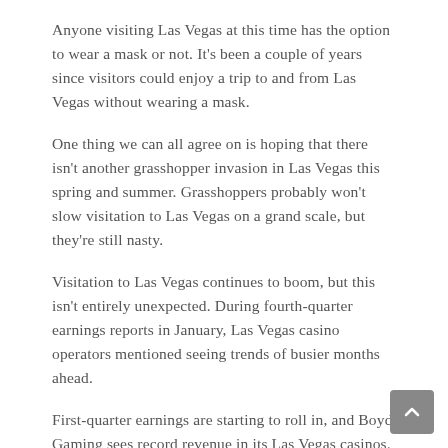Anyone visiting Las Vegas at this time has the option to wear a mask or not. It's been a couple of years since visitors could enjoy a trip to and from Las Vegas without wearing a mask.
One thing we can all agree on is hoping that there isn't another grasshopper invasion in Las Vegas this spring and summer. Grasshoppers probably won't slow visitation to Las Vegas on a grand scale, but they're still nasty.
Visitation to Las Vegas continues to boom, but this isn't entirely unexpected. During fourth-quarter earnings reports in January, Las Vegas casino operators mentioned seeing trends of busier months ahead.
First-quarter earnings are starting to roll in, and Boyd Gaming sees record revenue in its Las Vegas casinos. This trend should continue as other casino operators report earnings.
Adults started visiting Las Vegas as COVID-19 restrictions were lessened last year. While adults continue to flock to Las Vegas, they're bringing children with them for a warm-